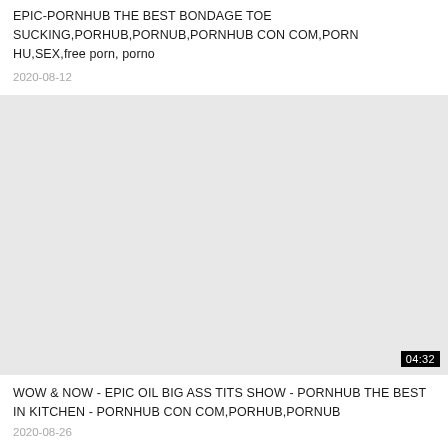EPIC-PORNHUB THE BEST BONDAGE TOE SUCKING,PORHUB,PORNUB,PORNHUB CON COM,PORN HU,SEX,free porn, porno
2020-08-12
[Figure (screenshot): Gray placeholder thumbnail with duration badge showing 04:32 in bottom right corner]
WOW & NOW - EPIC OIL BIG ASS TITS SHOW - PORNHUB THE BEST IN KITCHEN - PORNHUB CON COM,PORHUB,PORNUB
2020-08-26